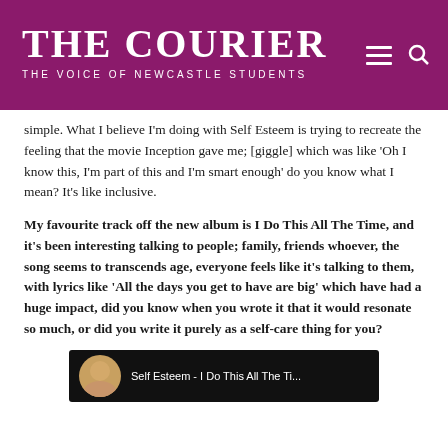THE COURIER
THE VOICE OF NEWCASTLE STUDENTS
simple. What I believe I'm doing with Self Esteem is trying to recreate the feeling that the movie Inception gave me; [giggle] which was like 'Oh I know this, I'm part of this and I'm smart enough' do you know what I mean? It's like inclusive.
My favourite track off the new album is I Do This All The Time, and it's been interesting talking to people; family, friends whoever, the song seems to transcends age, everyone feels like it's talking to them, with lyrics like 'All the days you get to have are big' which have had a huge impact, did you know when you wrote it that it would resonate so much, or did you write it purely as a self-care thing for you?
[Figure (screenshot): Video thumbnail showing a YouTube-style video player with a circular avatar on the left and white text on dark background reading 'Self Esteem - I Do This All The Ti...']